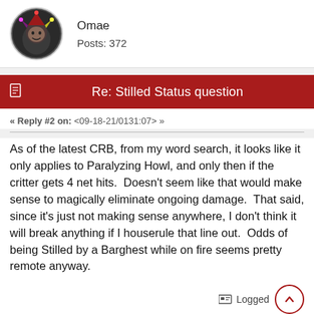Omae
Posts: 372
Re: Stilled Status question
« Reply #2 on: <09-18-21/0131:07> »
As of the latest CRB, from my word search, it looks like it only applies to Paralyzing Howl, and only then if the critter gets 4 net hits.  Doesn't seem like that would make sense to magically eliminate ongoing damage.  That said, since it's just not making sense anywhere, I don't think it will break anything if I houserule that line out.  Odds of being Stilled by a Barghest while on fire seems pretty remote anyway.
Logged